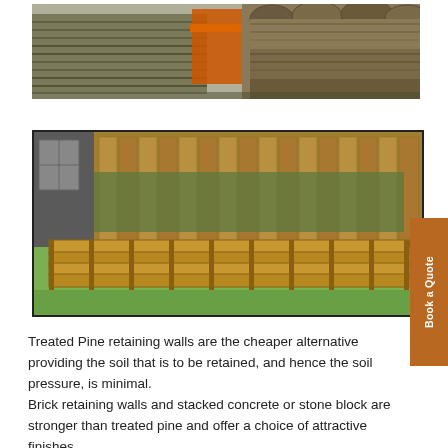[Figure (photo): Stacked treated pine logs and poles, with an orange strap visible in the center, outdoor storage yard setting.]
[Figure (photo): Treated pine retaining wall in a residential garden, showing horizontal timber boards forming a curved retaining wall with green lawn and wooden fence panels behind, beside a brick house.]
Treated Pine retaining walls are the cheaper alternative providing the soil that is to be retained, and hence the soil pressure, is minimal.
Brick retaining walls and stacked concrete or stone block are stronger than treated pine and offer a choice of attractive finishes.